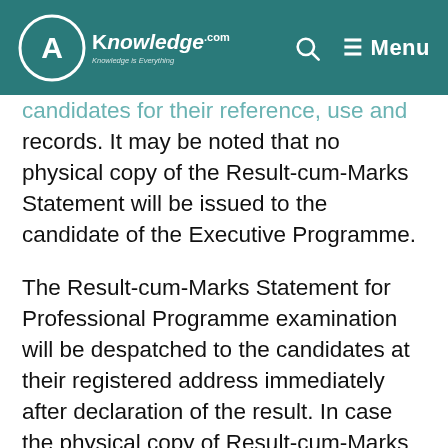AKnowledge.com — Menu
candidates for their reference, use and records. It may be noted that no physical copy of the Result-cum-Marks Statement will be issued to the candidate of the Executive Programme.
The Result-cum-Marks Statement for Professional Programme examination will be despatched to the candidates at their registered address immediately after declaration of the result. In case the physical copy of Result-cum-Marks Statement for Professional Programme is not